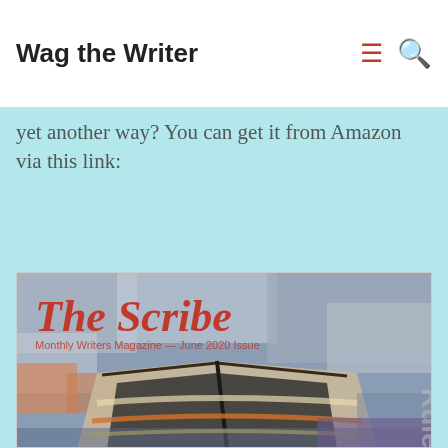Wag the Writer
yet another way? You can get it from Amazon via this link:
[Figure (illustration): Magazine cover of 'The Scribe - Monthly Writers Magazine - June 2020 Issue' featuring an oil painting of a weathered boat on a shoreline with abstract colorful brushwork background. Title text in red italic font. Side text partially visible reading 'Rules Publish'.]